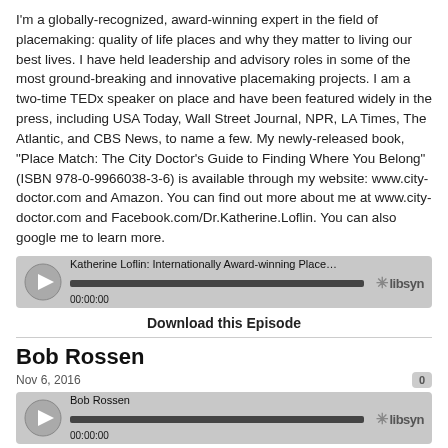I'm a globally-recognized, award-winning expert in the field of placemaking: quality of life places and why they matter to living our best lives. I have held leadership and advisory roles in some of the most ground-breaking and innovative placemaking projects. I am a two-time TEDx speaker on place and have been featured widely in the press, including USA Today, Wall Street Journal, NPR, LA Times, The Atlantic, and CBS News, to name a few. My newly-released book, “Place Match: The City Doctor’s Guide to Finding Where You Belong” (ISBN 978-0-9966038-3-6) is available through my website: www.city-doctor.com and Amazon. You can find out more about me at www.city-doctor.com and Facebook.com/Dr.Katherine.Loflin. You can also google me to learn more.
[Figure (screenshot): Audio player widget for Katherine Loflin: Internationally Award-winning Placemak... with progress bar showing 00:00:00 and libsyn logo]
Download this Episode
Bob Rossen
Nov 6, 2016
[Figure (screenshot): Audio player widget for Bob Rossen with progress bar showing 00:00:00 and libsyn logo]